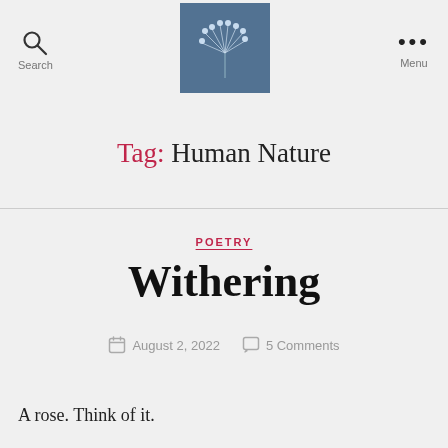Search | [dandelion image] | Menu
Tag: Human Nature
POETRY
Withering
August 2, 2022 · 5 Comments
A rose. Think of it.